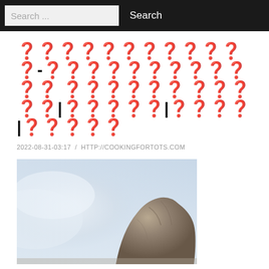Search ...  Search
????????????-???????????? ?????? ?????|?????|????|?????
2022-08-31-03:17 / HTTP://COOKINGFORTOTS.COM
[Figure (photo): Photograph of a rocky cliff or mountain peak partially obscured by mist or clouds, with a pale sky background]